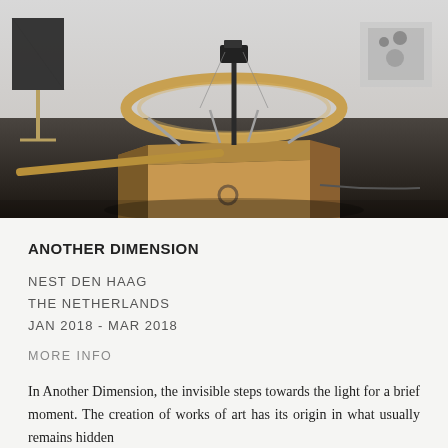[Figure (photo): Gallery installation photo showing a large circular wooden boat-like sculpture with a round wooden hoop frame on top, metal struts, and a dark mast/camera mount, resting on a dark gallery floor. Other artworks visible in the background on white walls.]
ANOTHER DIMENSION
NEST DEN HAAG
THE NETHERLANDS
JAN 2018 - MAR 2018
MORE INFO
In Another Dimension, the invisible steps towards the light for a brief moment. The creation of works of art has its origin in what usually remains hidden